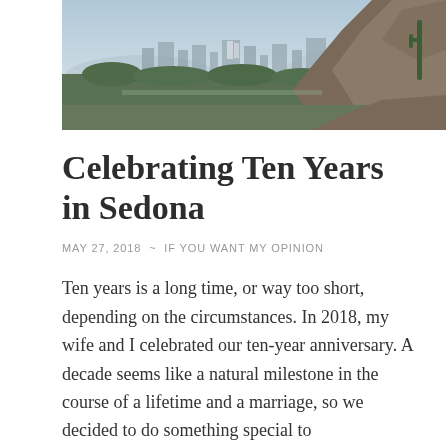[Figure (photo): Aerial or elevated view of a city landscape with desert vegetation and rocky hillside in the foreground, likely Sedona or Phoenix area Arizona]
Celebrating Ten Years in Sedona
MAY 27, 2018 ~ IF YOU WANT MY OPINION
Ten years is a long time, or way too short, depending on the circumstances. In 2018, my wife and I celebrated our ten-year anniversary. A decade seems like a natural milestone in the course of a lifetime and a marriage, so we decided to do something special to commemorate the occasion. Traveling brings us a great deal of pleasure, so we decided to spend a few days in a place that would offer some of our favorite elements of "getting away:" rest…